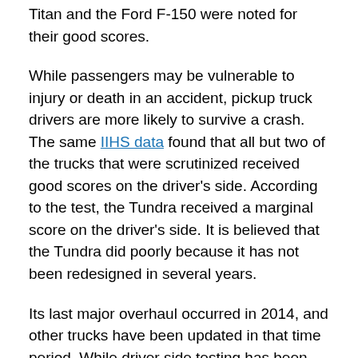Titan and the Ford F-150 were noted for their good scores.
While passengers may be vulnerable to injury or death in an accident, pickup truck drivers are more likely to survive a crash. The same IIHS data found that all but two of the trucks that were scrutinized received good scores on the driver's side. According to the test, the Tundra received a marginal score on the driver's side. It is believed that the Tundra did poorly because it has not been redesigned in several years.
Its last major overhaul occurred in 2014, and other trucks have been updated in that time period. While driver side testing has been conducted by the IIHS since 2012, it only started passenger side testing in 2017. Passenger side testing began as a way to show that both passengers and drivers deserve equal amounts of protection while a vehicle is in motion.